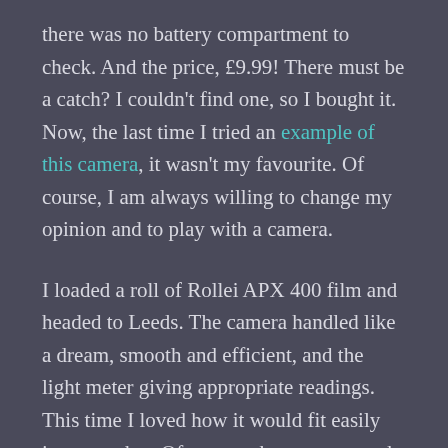there was no battery compartment to check. And the price, £9.99! There must be a catch? I couldn't find one, so I bought it. Now, the last time I tried an example of this camera, it wasn't my favourite. Of course, I am always willing to change my opinion and to play with a camera.
I loaded a roll of Rollei APX 400 film and headed to Leeds. The camera handled like a dream, smooth and efficient, and the light meter giving appropriate readings. This time I loved how it would fit easily into a pocket. Of course, there was a catch, I just hadn't found it